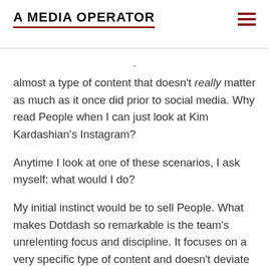A MEDIA OPERATOR
almost a type of content that doesn't really matter as much as it once did prior to social media. Why read People when I can just look at Kim Kardashian's Instagram?
Anytime I look at one of these scenarios, I ask myself: what would I do?
My initial instinct would be to sell People. What makes Dotdash so remarkable is the team's unrelenting focus and discipline. It focuses on a very specific type of content and doesn't deviate from that. Therefore, if People deviates from that plan, find a buyer and sell. There is so